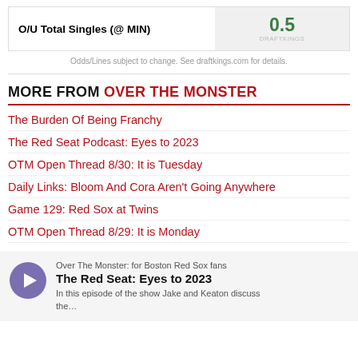| Bet | Value |
| --- | --- |
| O/U Total Singles (@ MIN) | 0.5 |
Odds/Lines subject to change. See draftkings.com for details.
MORE FROM OVER THE MONSTER
The Burden Of Being Franchy
The Red Seat Podcast: Eyes to 2023
OTM Open Thread 8/30: It is Tuesday
Daily Links: Bloom And Cora Aren't Going Anywhere
Game 129: Red Sox at Twins
OTM Open Thread 8/29: It is Monday
[Figure (other): Podcast player card: Over The Monster for Boston Red Sox fans — The Red Seat: Eyes to 2023. Play button icon. Description: In this episode of the show Jake and Keaton discuss...]